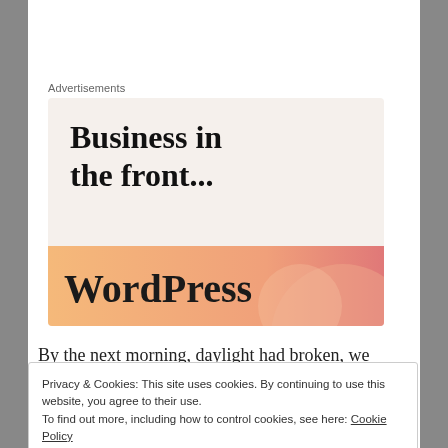Advertisements
[Figure (illustration): WordPress advertisement banner: 'Business in the front...' headline on cream background with WordPress logo on orange gradient bar at bottom]
By the next morning, daylight had broken, we could see there was a Target {whew}, and we were in love with our
Privacy & Cookies: This site uses cookies. By continuing to use this website, you agree to their use.
To find out more, including how to control cookies, see here: Cookie Policy
School students made a video for the Katy Perry song Roar...